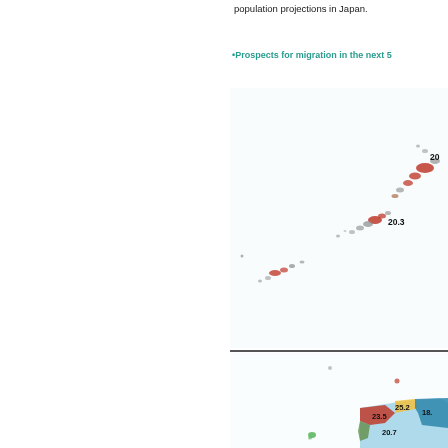population projections in Japan.
Prospects for migration in the next 5
[Figure (map): Partial map showing island chain (likely Ryukyu Islands / Okinawa region of Japan) with colored regions and data labels: 20.3 and a partially visible number starting with 20 at top right corner]
[Figure (map): Partial map showing lower portion of Japan with colored prefectures and data labels: 25.2, 23.5, 20.7, 18.x visible at bottom right]